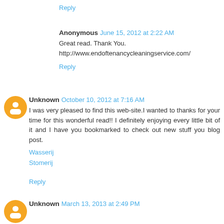Reply
Anonymous June 15, 2012 at 2:22 AM
Great read. Thank You.
http://www.endoftenancycleaningservice.com/
Reply
Unknown October 10, 2012 at 7:16 AM
I was very pleased to find this web-site.I wanted to thanks for your time for this wonderful read!! I definitely enjoying every little bit of it and I have you bookmarked to check out new stuff you blog post.
Wasserij
Stomerij
Reply
Unknown March 13, 2013 at 2:49 PM